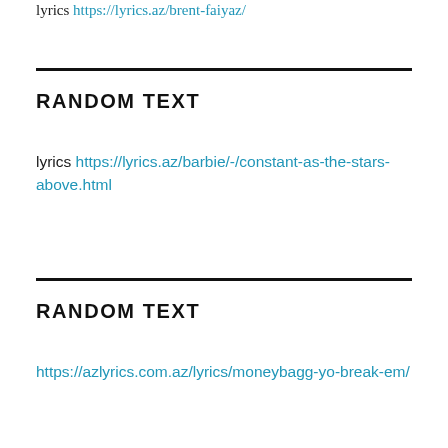lyrics https://lyrics.az/brent-faiyaz/
RANDOM TEXT
lyrics https://lyrics.az/barbie/-/constant-as-the-stars-above.html
RANDOM TEXT
https://azlyrics.com.az/lyrics/moneybagg-yo-break-em/